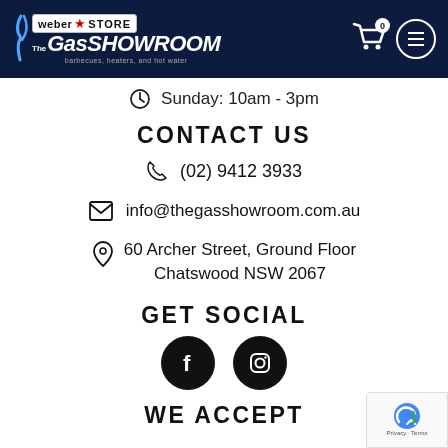[Figure (logo): The Gas Showroom header with Weber Store badge, cart icon and menu button on dark navy background]
Sunday: 10am - 3pm
CONTACT US
(02) 9412 3933
info@thegasshowroom.com.au
60 Archer Street, Ground Floor Chatswood NSW 2067
GET SOCIAL
[Figure (other): Facebook and Instagram social media icons as black circles with white logos]
WE ACCEPT